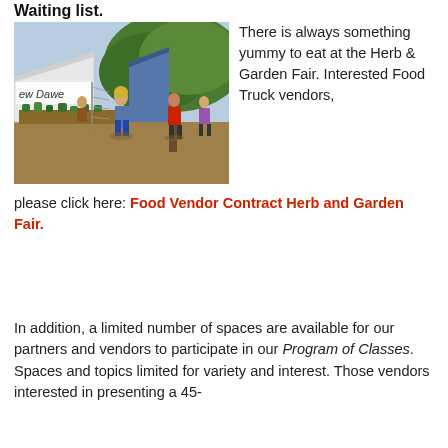Waiting list.
[Figure (photo): Outdoor herb and garden fair with vendor booths, people walking around, large trees in background. A banner reading 'ew Dawe' visible on the left booth.]
There is always something yummy to eat at the Herb & Garden Fair. Interested Food Truck vendors, please click here: Food Vendor Contract Herb and Garden Fair.
In addition, a limited number of spaces are available for our partners and vendors to participate in our Program of Classes. Spaces and topics limited for variety and interest. Those vendors interested in presenting a 45-